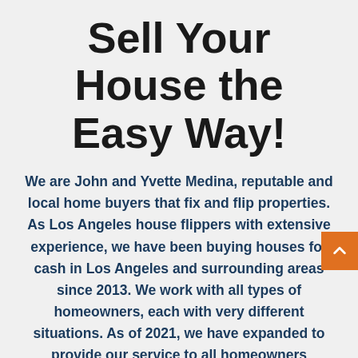Sell Your House the Easy Way!
We are John and Yvette Medina, reputable and local home buyers that fix and flip properties. As Los Angeles house flippers with extensive experience, we have been buying houses for cash in Los Angeles and surrounding areas since 2013. We work with all types of homeowners, each with very different situations. As of 2021, we have expanded to provide our service to all homeowners throughout the entire State of California! Our company offers solutions for the situations with as complete of